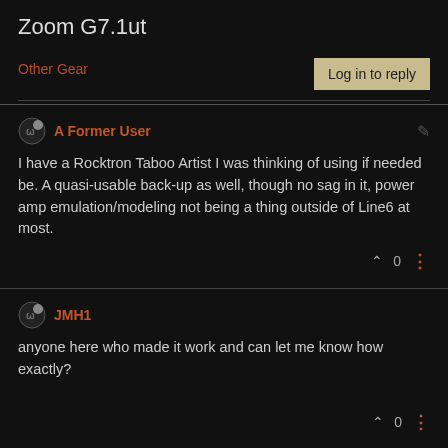Zoom G7.1ut
Other Gear
Log in to reply
A Former User
I have a Rocktron Taboo Artist I was thinking of using if needed be. A quasi-usable back-up as well, though no sag in it, power amp emulation/modeling not being a thing outside of Line6 at most.
0
JMH1
anyone here who made it work and can let me know how exactly?
0